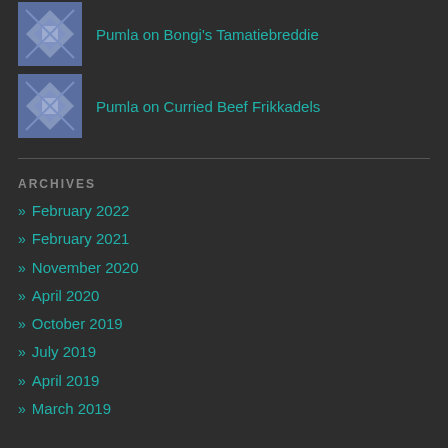Pumla on Bongi's Tamatiebreddie
Pumla on Curried Beef Frikkadels
ARCHIVES
» February 2022
» February 2021
» November 2020
» April 2020
» October 2019
» July 2019
» April 2019
» March 2019